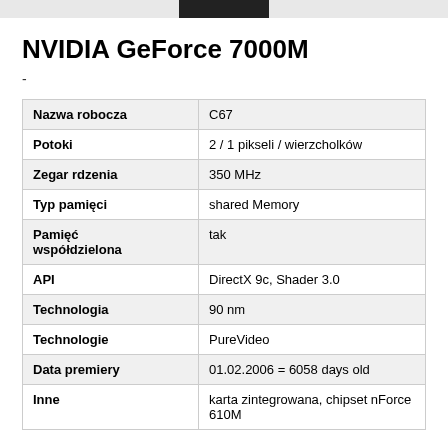NVIDIA GeForce 7000M
-
| Property | Value |
| --- | --- |
| Nazwa robocza | C67 |
| Potoki | 2 / 1 pikseli / wierzcholków |
| Zegar rdzenia | 350 MHz |
| Typ pamięci | shared Memory |
| Pamięć współdzielona | tak |
| API | DirectX 9c, Shader 3.0 |
| Technologia | 90 nm |
| Technologie | PureVideo |
| Data premiery | 01.02.2006 = 6058 days old |
| Inne | karta zintegrowana, chipset nForce 610M |